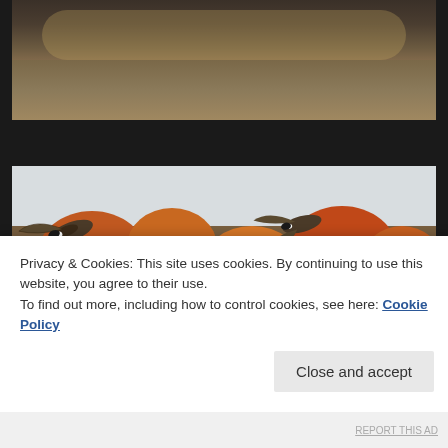[Figure (photo): Aerial/landscape photo of autumn forest with brown and orange foliage, partially visible at top of page]
[Figure (photo): Canada geese flying in formation against a background of autumn trees with orange, red, and yellow foliage]
Privacy & Cookies: This site uses cookies. By continuing to use this website, you agree to their use.
To find out more, including how to control cookies, see here: Cookie Policy
Close and accept